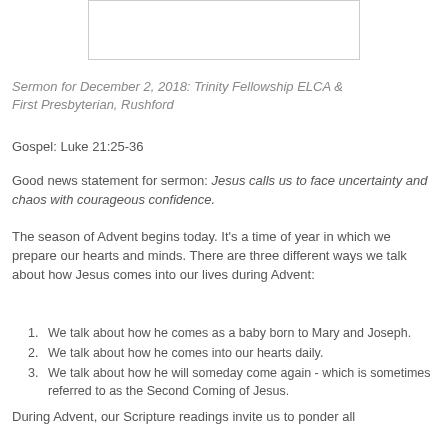[Figure (other): White rectangular image placeholder at the top of the page]
Sermon for December 2, 2018: Trinity Fellowship ELCA & First Presbyterian, Rushford
Gospel: Luke 21:25-36
Good news statement for sermon: Jesus calls us to face uncertainty and chaos with courageous confidence.
The season of Advent begins today. It's a time of year in which we prepare our hearts and minds. There are three different ways we talk about how Jesus comes into our lives during Advent:
We talk about how he comes as a baby born to Mary and Joseph.
We talk about how he comes into our hearts daily.
We talk about how he will someday come again - which is sometimes referred to as the Second Coming of Jesus.
During Advent, our Scripture readings invite us to ponder all